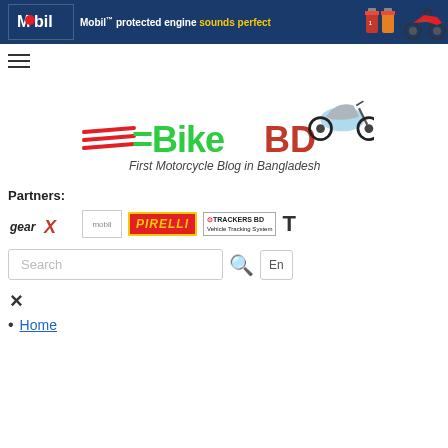[Figure (screenshot): Mobil advertisement banner at top with Mobil logo, text 'Mobil protected engine sounds perfect', oil bottle images and red motorcycle on right]
[Figure (logo): BikeBD logo - First Motorcycle Blog in Bangladesh, with stylized motorcycle graphic]
Partners:
[Figure (logo): Partner logos: GearX, mobil, Pirelli, Trackers BD, and partially visible T logo]
[Figure (screenshot): Search bar with Search placeholder text, magnifying glass icon, and En button]
×
Home